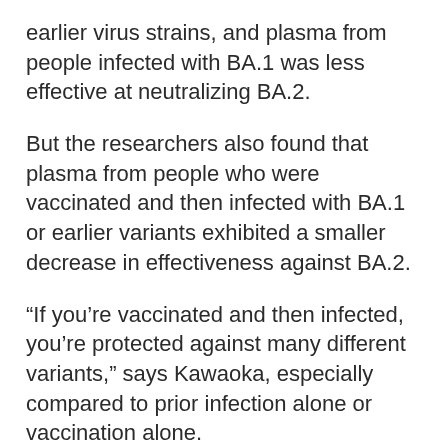earlier virus strains, and plasma from people infected with BA.1 was less effective at neutralizing BA.2.
But the researchers also found that plasma from people who were vaccinated and then infected with BA.1 or earlier variants exhibited a smaller decrease in effectiveness against BA.2.
“If you’re vaccinated and then infected, you’re protected against many different variants,” says Kawaoka, especially compared to prior infection alone or vaccination alone.
The researchers are now testing the newest sub-variants of omicron, including BA.2.12.1